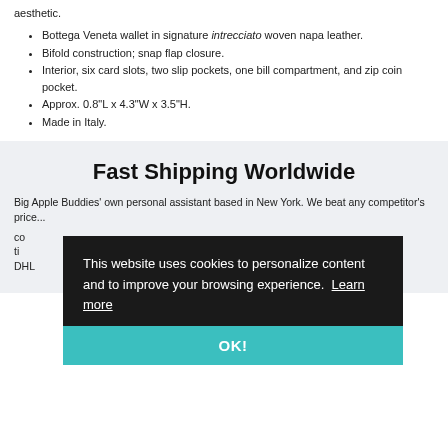aesthetic.
Bottega Veneta wallet in signature intrecciato woven napa leather.
Bifold construction; snap flap closure.
Interior, six card slots, two slip pockets, one bill compartment, and zip coin pocket.
Approx. 0.8"L x 4.3"W x 3.5"H.
Made in Italy.
Fast Shipping Worldwide
Big Apple Buddies' own personal assistant based in New York. We beat any competitor's price...
This website uses cookies to personalize content and to improve your browsing experience. Learn more
OK!